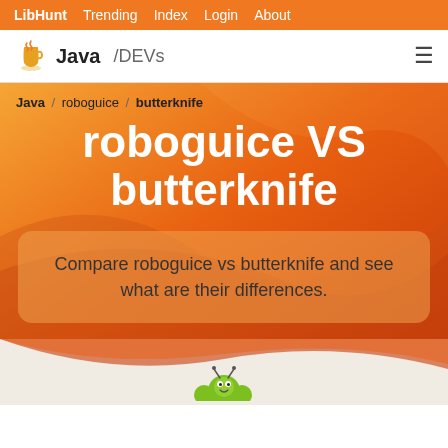LibHunt  Trending  Index  Login  About
Java /DEVs
Java / roboguice / butterknife
roboguice VS butterknife
Compare roboguice vs butterknife and see what are their differences.
[Figure (illustration): Green caterpillar/bug mascot partially visible at the bottom of the page]